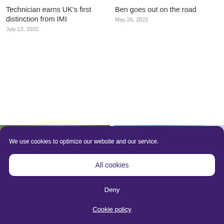Technician earns UK’s first distinction from IMI
July 12, 2022
Ben goes out on the road
May 26, 2022
[Figure (photo): Two article thumbnail images side by side: left shows people outdoors with text 'Help with', right shows a van/vehicle outdoors with a person inset]
We use cookies to optimize our website and our service.
All cookies
Deny
Cookie policy